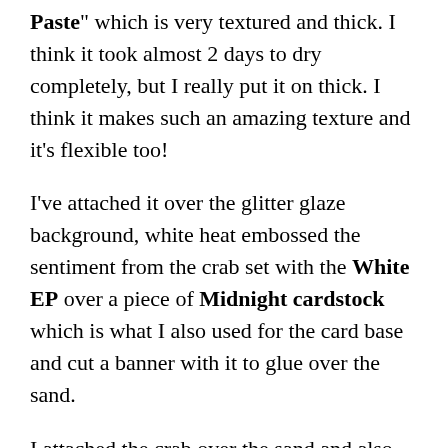“Paste” which is very textured and thick. I think it took almost 2 days to dry completely, but I really put it on thick. I think it makes such an amazing texture and it’s flexible too!
I’ve attached it over the glitter glaze background, white heat embossed the sentiment from the crab set with the White EP over a piece of Midnight cardstock which is what I also used for the card base and cut a banner with it to glue over the sand.
I attached the crab over the sand and also some seashell sequins and tropical fish cut outs from a past card kit to help finish the underwater scene.